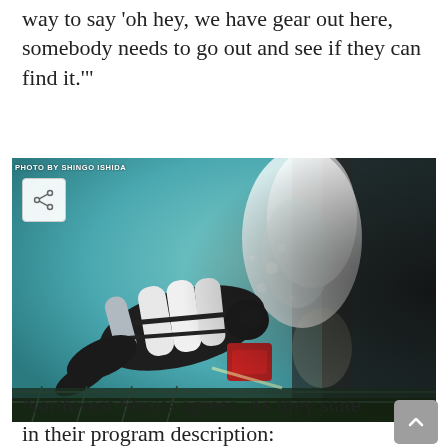way to say 'oh hey, we have gear out here, somebody needs to go out and see if they can find it.'"
[Figure (photo): Underwater photo of a scuba diver with multiple tanks examining a large dark net or structure, with bubbles rising above. Photo credit: PHOTO BY SHINGO ISHIDA]
Northwest Straits agrees. As they state in their program description: